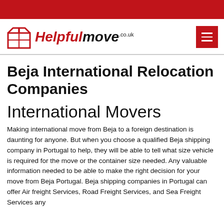[Figure (logo): HelpfulMove.co.uk logo with red box icon and red/black italic text]
Beja International Relocation Companies
International Movers
Making international move from Beja to a foreign destination is daunting for anyone. But when you choose a qualified Beja shipping company in Portugal to help, they will be able to tell what size vehicle is required for the move or the container size needed. Any valuable information needed to be able to make the right decision for your move from Beja Portugal. Beja shipping companies in Portugal can offer Air freight Services, Road Freight Services, and Sea Freight Services any